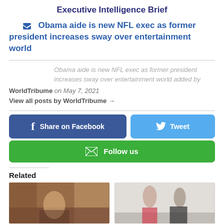Executive Intelligence Brief
Obama aide is new NFL exec as former president increases sway over entertainment world
Obama aide is new NFL exec as former president increases sway over entertainment world added by WorldTribume on May 7, 2021
View all posts by WorldTribume →
[Figure (infographic): Social sharing buttons: Share on Facebook, Tweet, Follow us]
Related
[Figure (photo): Photo of Obama at desk on phone in Oval Office]
[Figure (photo): Photo of people standing in a hallway, possibly White House]